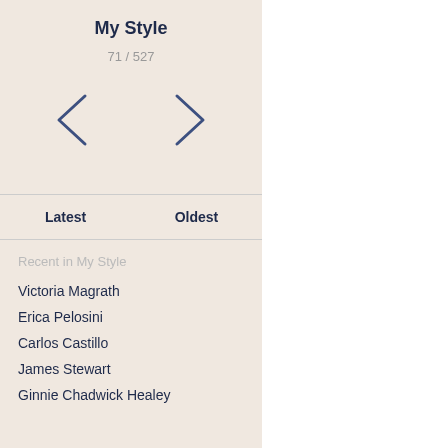My Style
71 / 527
[Figure (other): Navigation arrows: left chevron and right chevron for pagination]
Latest    Oldest
Recent in My Style
Victoria Magrath
Erica Pelosini
Carlos Castillo
James Stewart
Ginnie Chadwick Healey